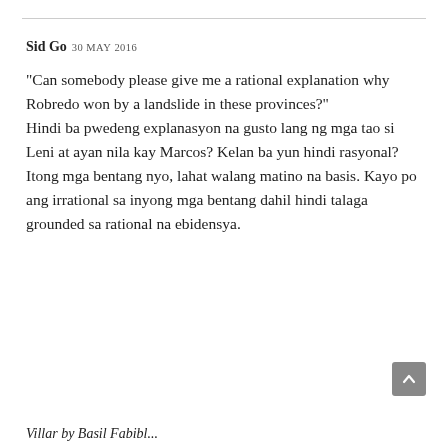Sid Go 30 MAY 2016
“Can somebody please give me a rational explanation why Robredo won by a landslide in these provinces?”
Hindi ba pwedeng explanasyon na gusto lang ng mga tao si Leni at ayan nila kay Marcos? Kelan ba yun hindi rasyonal?
Itong mga bentang nyo, lahat walang matino na basis. Kayo po ang irrational sa inyong mga bentang dahil hindi talaga grounded sa rational na ebidensya.
Villar by Basil Fabibl...